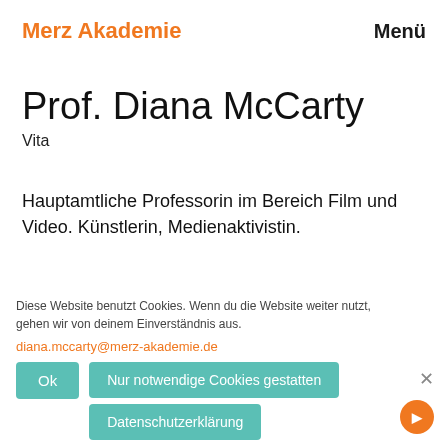Merz Akademie   Menü
Prof. Diana McCarty
Vita
Hauptamtliche Professorin im Bereich Film und Video. Künstlerin, Medienaktivistin.
Diese Website benutzt Cookies. Wenn du die Website weiter nutzt, gehen wir von deinem Einverständnis aus.
diana.mccarty@merz-akademie.de
Ok
Nur notwendige Cookies gestatten
Datenschutzerklärung